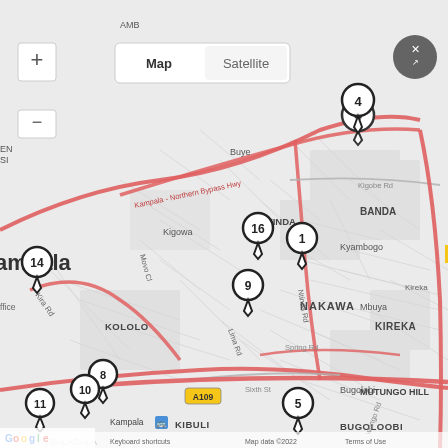[Figure (map): Google Maps view of Kampala, Uganda area showing neighborhoods including Ntinda, Nakawa, Kiwatule, Banda, Kyambogo, Kololo, Kibuli, Bugolobi, Bugoloobi, Mbuya, Kireka, Mutungo Hill areas. Multiple numbered map pins are visible: 4 (top center-right), 14 (left), 16 (center-left), 1 (center), 9 (center), 8, 10, 11 (bottom-left cluster), 5 (bottom center). Roads include Kampala-Northern Bypass Hwy, Kira Rd, Ntinda Rd, Jinja Rd (A109), Spring Rd, Sixth St, Kigobe Rd, Mbogo Road. Map/Satellite toggle and zoom controls visible. Google logo and attribution at bottom.]